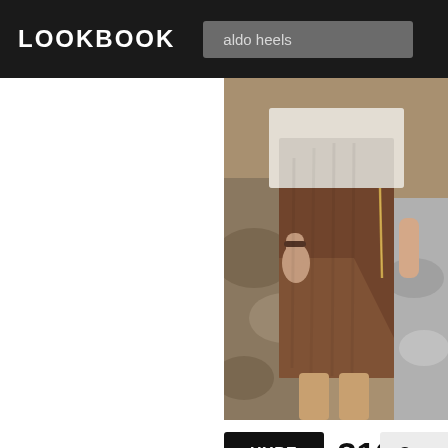LOOKBOOK   aldo heels
[Figure (photo): Fashion photo showing a brown suede/faux-leather wrap skirt with zipper detail, worn with a white blouse, photographed outdoors on a rocky background. Two people visible.]
HYPE  312  Sav
1  Blouse With Unicorns
Zara in Zara Shirts
2  Fake Leather Skirt
H&M in H&M Leather Skirts
3  Shoes